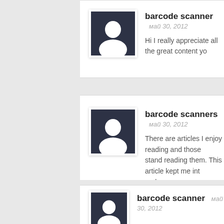[Figure (screenshot): User avatar placeholder — dark navy square with white person silhouette icon, white border and shadow]
barcode scanner  май 30, 2012
Hi I really appreciate all the great content yo
[Figure (screenshot): User avatar placeholder — dark navy square with white person silhouette icon, white border and shadow]
barcode scanners  май 30, 2012
There are articles I enjoy reading and those stand reading them. This article kept me int end.
[Figure (screenshot): User avatar placeholder — dark navy square with white person silhouette icon, white border and shadow (partially visible)]
barcode scanner  май 30, 2012